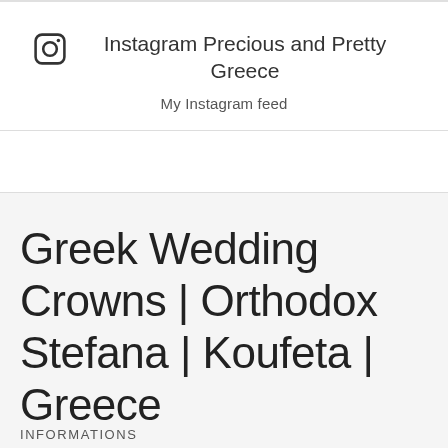Instagram Precious and Pretty Greece
My Instagram feed
Greek Wedding Crowns | Orthodox Stefana | Koufeta | Greece
INFORMATIONS